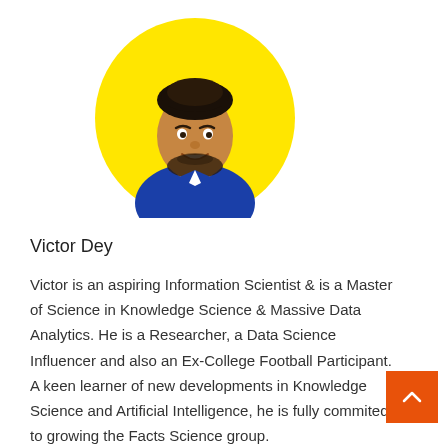[Figure (photo): Circular profile photo of Victor Dey against a yellow background. He is a young man with a beard, wearing a blue shirt, smiling at the camera.]
Victor Dey
Victor is an aspiring Information Scientist & is a Master of Science in Knowledge Science & Massive Data Analytics. He is a Researcher, a Data Science Influencer and also an Ex-College Football Participant. A keen learner of new developments in Knowledge Science and Artificial Intelligence, he is fully commited to growing the Facts Science group.